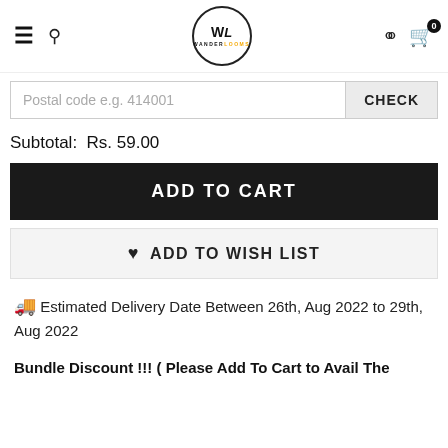WanderLooms navigation header with hamburger menu, search icon, logo, user icon, and cart (0)
Postal code e.g. 414001
CHECK
Subtotal:  Rs. 59.00
ADD TO CART
♥  ADD TO WISH LIST
🚚 Estimated Delivery Date Between 26th, Aug 2022 to 29th, Aug 2022
Bundle Discount !!! ( Please Add To Cart to Avail The